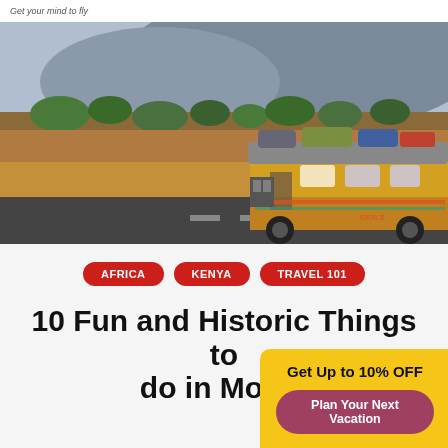Get your mind to fly
[Figure (photo): A colorfully decorated yellow bus loaded with luggage on its roof, driving on a road through a dry African landscape with scrubland and a mountain in the background. Kenya travel scene.]
AFRICA   KENYA   TRAVEL 101
10 Fun and Historic Things to do in Momb...
Get Up to 10% OFF
Plan Your Next Vacation